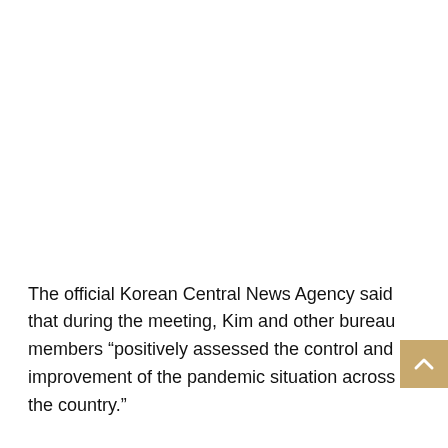The official Korean Central News Agency said that during the meeting, Kim and other bureau members “positively assessed the control and improvement of the pandemic situation across the country.”